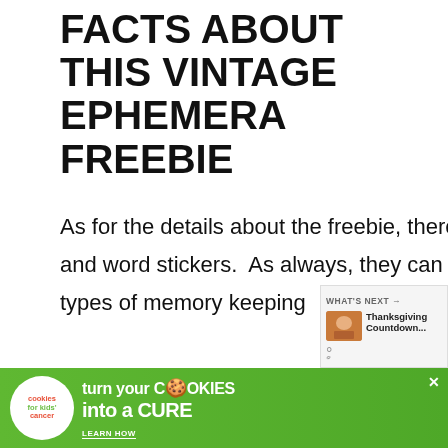FACTS ABOUT THIS VINTAGE EPHEMERA FREEBIE
As for the details about the freebie, there are 26 elements, a variety of fold-able tabs, inchies and word stickers.  As always, they can either be used for journaling,  in your planning or other types of memory keeping
The free printable has 26 elements on an 1/2” by 11” jpg file and the download file is about 5.1 MB.  Unlike the previous
[Figure (infographic): Advertisement banner: 'turn your COOKIES into a CURE LEARN HOW' with cookies for kids cancer logo on green background]